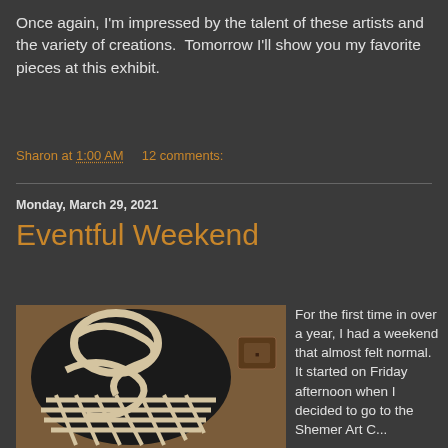Once again, I'm impressed by the talent of these artists and the variety of creations.  Tomorrow I'll show you my favorite pieces at this exhibit.
Sharon at 1:00 AM    12 comments:
Monday, March 29, 2021
Eventful Weekend
[Figure (photo): A decorative ceramic or sculpted object with black and cream/white swirling stripe patterns, photographed against a brown background with a small leather tag visible.]
For the first time in over a year, I had a weekend that almost felt normal.  It started on Friday afternoon when I decided to go to the Shemer Art C...